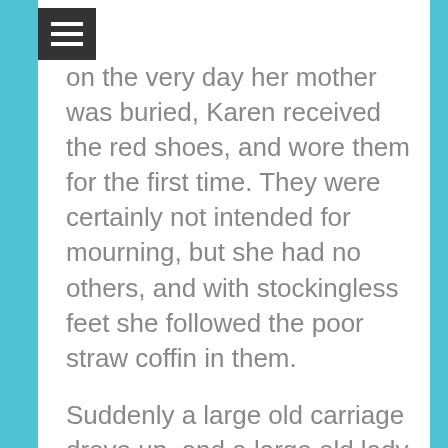[Figure (other): Hamburger menu icon (three white horizontal lines on dark background)]
on the very day her mother was buried, Karen received the red shoes, and wore them for the first time. They were certainly not intended for mourning, but she had no others, and with stockingless feet she followed the poor straw coffin in them.
Suddenly a large old carriage drove up, and a large old lady sat in it: she looked at the little girl, felt compassion for her, and then said to the clergyman:
"Here, give me the little girl. I